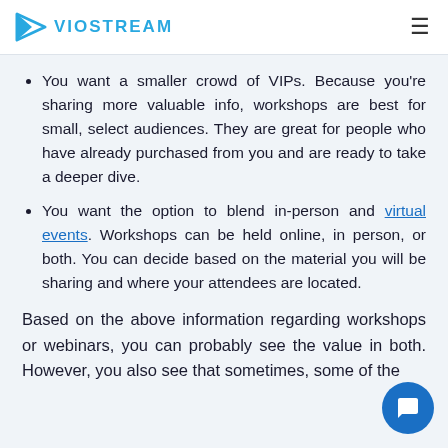VIOSTREAM
You want a smaller crowd of VIPs. Because you're sharing more valuable info, workshops are best for small, select audiences. They are great for people who have already purchased from you and are ready to take a deeper dive.
You want the option to blend in-person and virtual events. Workshops can be held online, in person, or both. You can decide based on the material you will be sharing and where your attendees are located.
Based on the above information regarding workshops or webinars, you can probably see the value in both. However, you also see that sometimes, some of the